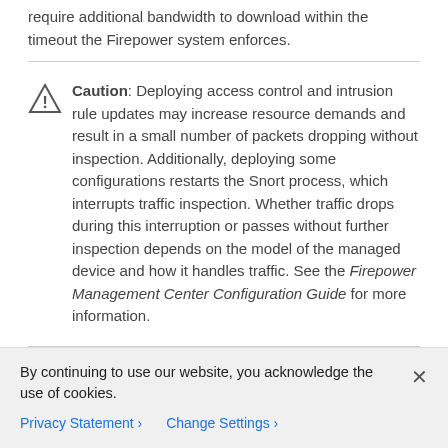require additional bandwidth to download within the timeout the Firepower system enforces.
Caution: Deploying access control and intrusion rule updates may increase resource demands and result in a small number of packets dropping without inspection. Additionally, deploying some configurations restarts the Snort process, which interrupts traffic inspection. Whether traffic drops during this interruption or passes without further inspection depends on the model of the managed device and how it handles traffic. See the Firepower Management Center Configuration Guide for more information.
Downloading URL Lists
Due to memory limitations, some device models perform
By continuing to use our website, you acknowledge the use of cookies.
Privacy Statement › Change Settings ›